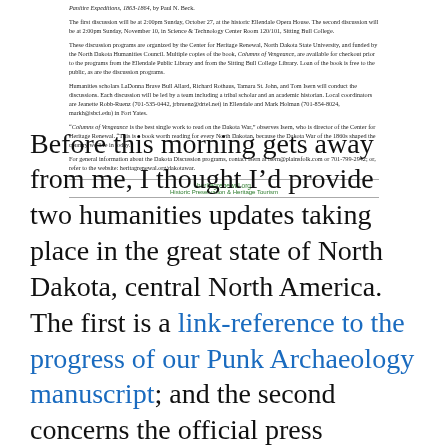Panitire Expeditions, 1863-1864, by Paul N. Beck.
The first discussion will be at 2:00pm Sunday, October 27, at the historic Ellendale Opera House. The second discussion will be at 2:00pm Sunday, November 10, in Science & Technology Center Room 120/101, Sitting Bull College.
These discussion programs are organized by the Center for Heritage Renewal, North Dakota State University, and funded by the North Dakota Humanities Council. Multiple copies of the book, Columns of Vengeance, are available for checkout prior to the programs from the Ellendale Public Library and from the Sitting Bull College Library. Loan of the book is free to the public, as are the discussion programs.
Humanities scholars LaDonna Brave Bull Allard, Richard Rothaus, Tamara St. John, and Tom Isern will conduct the discussions. Each discussion will be led by a team including a tribal scholar and an academic historian. Local coordinators are Jeanette Robb-Ruenz (701-535-0442, jrbruenz@drtel.net) in Ellendale and Mark Holman (701-854-8024, markh@sbci.edu) in Fort Yates.
"Columns of Vengeance is the best single work to read on the Dakota War," observes Isern, who is director of the Center for Heritage Renewal. "This is a book worth reading for every North Dakotan, because the Dakota War of the 1860s shaped the country we live in today."
For general information about the Dakota Discussion programs, contact Isern at isern@plainsfolk.com or 701-799-2942; or, refer to the website: heritagrenewal.org/dakotawar.
heritagrenewal.org
Historic Preservation & Heritage Tourism
Before this morning gets away from me, I thought I'd provide two humanities updates taking place in the great state of North Dakota, central North America. The first is a link-reference to the progress of our Punk Archaeology manuscript; and the second concerns the official press